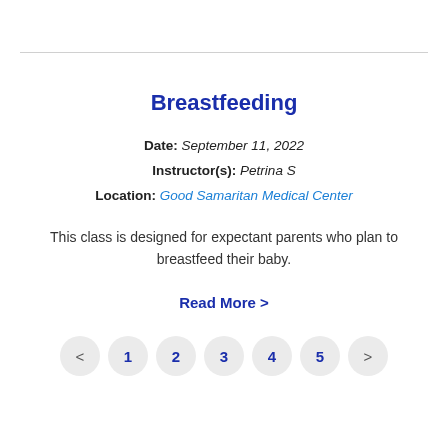Breastfeeding
Date: September 11, 2022
Instructor(s): Petrina S
Location: Good Samaritan Medical Center
This class is designed for expectant parents who plan to breastfeed their baby.
Read More >
< 1 2 3 4 5 >